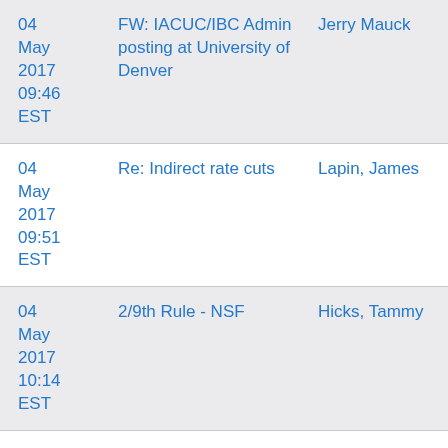| Date | Subject | Sender |
| --- | --- | --- |
| 04 May 2017 09:46 EST | FW: IACUC/IBC Admin posting at University of Denver | Jerry Mauck |
| 04 May 2017 09:51 EST | Re: Indirect rate cuts | Lapin, James |
| 04 May 2017 10:14 EST | 2/9th Rule - NSF | Hicks, Tammy |
| 04 | Re: Award Opportunities in | Abby Botto... |